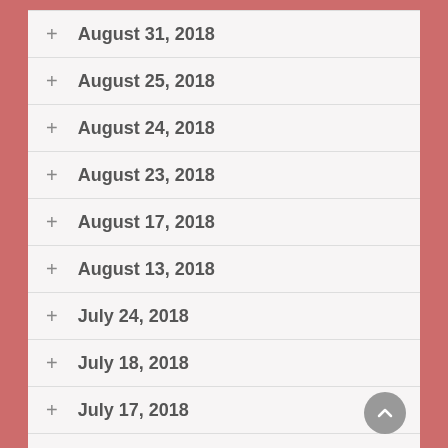+ August 31, 2018
+ August 25, 2018
+ August 24, 2018
+ August 23, 2018
+ August 17, 2018
+ August 13, 2018
+ July 24, 2018
+ July 18, 2018
+ July 17, 2018